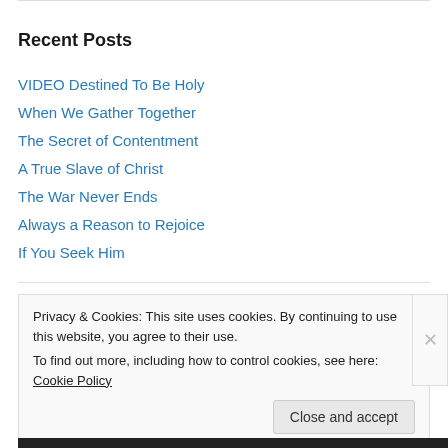Recent Posts
VIDEO Destined To Be Holy
When We Gather Together
The Secret of Contentment
A True Slave of Christ
The War Never Ends
Always a Reason to Rejoice
If You Seek Him
Privacy & Cookies: This site uses cookies. By continuing to use this website, you agree to their use.
To find out more, including how to control cookies, see here: Cookie Policy
Close and accept